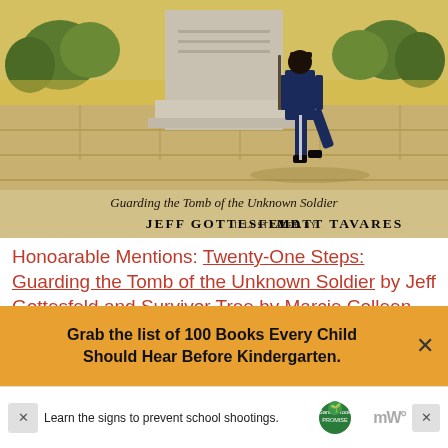[Figure (illustration): Book cover of 'Twenty-One Steps: Guarding the Tomb of the Unknown Soldier' by Jeff Gottesfeld, illustrated by Matt Tavares. Shows a soldier in dress uniform marching in front of a memorial tomb, with trees and golden/tan stone background. Subtitle reads 'Guarding the Tomb of the Unknown Soldier'. Author: Jeff Gottesfeld, illustrated by Matt Tavares.]
Honoarable Mentions: Twenty-One Steps: Guarding the Tomb of the Unknown Soldier by Jeff Gottesfeld and Survivor Tree by Marcie Colleen
Grab the list of 100 Books Every Child Should Hear Before Kindergarten.
[Figure (screenshot): Advertisement banner: 'Learn the signs to prevent school shootings.' with Sandy Hook Promise logo and Moms Demand Action logo. Has a close button (X).]